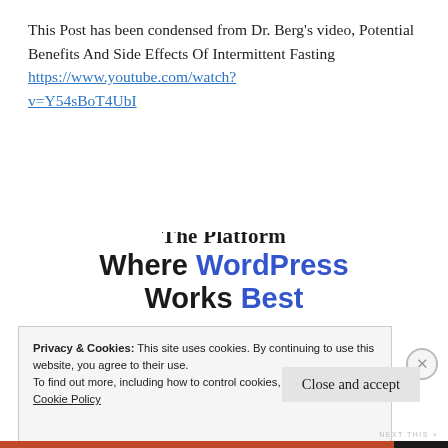This Post has been condensed from Dr. Berg's video, Potential Benefits And Side Effects Of Intermittent Fasting https://www.youtube.com/watch?v=Y54sBoT4UbI
[Figure (infographic): Advertisement banner: 'The Platform Where WordPress Works Best' with WordPress in blue bold text]
Privacy & Cookies: This site uses cookies. By continuing to use this website, you agree to their use.
To find out more, including how to control cookies, see here: Cookie Policy
Close and accept